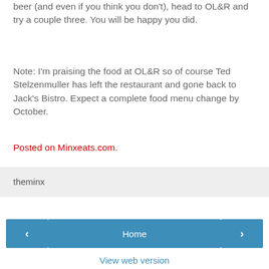beer (and even if you think you don't), head to OL&R and try a couple three. You will be happy you did.
Note: I'm praising the food at OL&R so of course Ted Stelzenmuller has left the restaurant and gone back to Jack's Bistro. Expect a complete food menu change by October.
Posted on Minxeats.com.
theminx
‹
Home
›
View web version
Powered by Blogger.